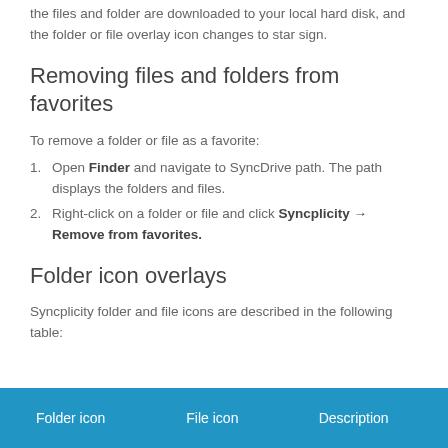the files and folder are downloaded to your local hard disk, and the folder or file overlay icon changes to star sign.
Removing files and folders from favorites
To remove a folder or file as a favorite:
1. Open Finder and navigate to SyncDrive path. The path displays the folders and files.
2. Right-click on a folder or file and click Syncplicity → Remove from favorites.
Folder icon overlays
Syncplicity folder and file icons are described in the following table:
| Folder icon | File icon | Description |
| --- | --- | --- |